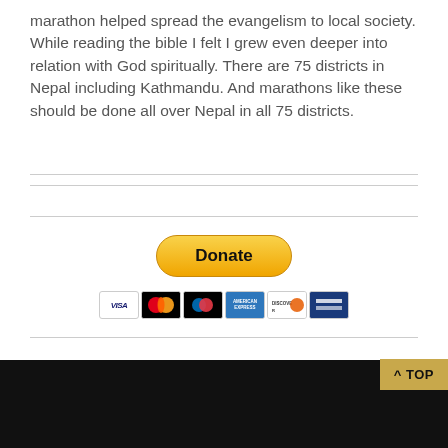marathon helped spread the evangelism to local society. While reading the bible I felt I grew even deeper into relation with God spiritually. There are 75 districts in Nepal including Kathmandu. And marathons like these should be done all over Nepal in all 75 districts.
[Figure (other): PayPal Donate button with payment card icons (Visa, Mastercard, Mastercard, American Express, Discover, bank transfer)]
^ TOP